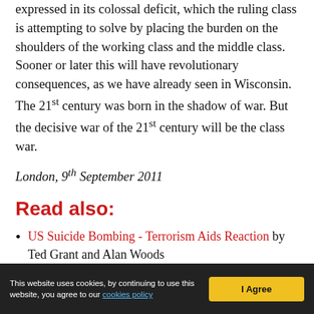expressed in its colossal deficit, which the ruling class is attempting to solve by placing the burden on the shoulders of the working class and the middle class. Sooner or later this will have revolutionary consequences, as we have already seen in Wisconsin. The 21st century was born in the shadow of war. But the decisive war of the 21st century will be the class war.
London, 9th September 2011
Read also:
US Suicide Bombing - Terrorism Aids Reaction by Ted Grant and Alan Woods
This website uses cookies, by continuing to use this website, you agree to our cookies policy | I Agree